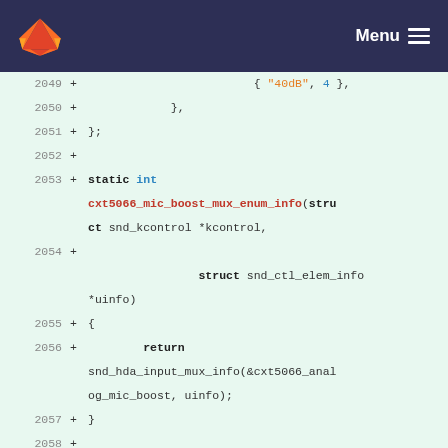GitLab Menu
2049  +                         { "40dB", 4 },
2050  +             },
2051  + };
2052  +
2053  + static int cxt5066_mic_boost_mux_enum_info(struct snd_kcontrol *kcontrol,
2054  +
                     struct snd_ctl_elem_info *uinfo)
2055  + {
2056  +         return snd_hda_input_mux_info(&cxt5066_analog_mic_boost, uinfo);
2057  + }
2058  +
2059  + static int cxt5066_mic_boost_mux_enum_get(struct snd_kcontrol *kcontrol,
2060  +